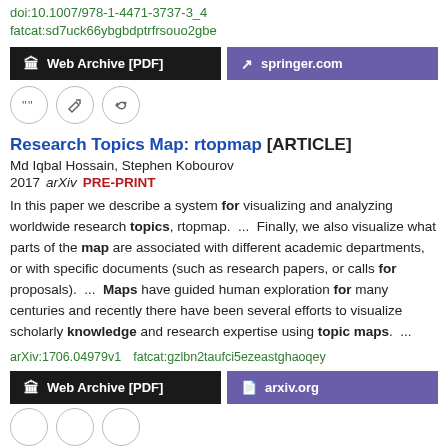doi:10.1007/978-1-4471-3737-3_4
fatcat:sd7uck66ybgbdptrfrsouo2gbe
[Figure (other): Two buttons: 'Web Archive [PDF]' (black) and 'springer.com' (purple) with external link icon]
[Figure (other): Three circle icon buttons: quote, edit, link]
Research Topics Map: rtopmap [ARTICLE]
Md Iqbal Hossain, Stephen Kobourov
2017 arXiv  PRE-PRINT
In this paper we describe a system for visualizing and analyzing worldwide research topics, rtopmap.  ...  Finally, we also visualize what parts of the map are associated with different academic departments, or with specific documents (such as research papers, or calls for proposals).  ...  Maps have guided human exploration for many centuries and recently there have been several efforts to visualize scholarly knowledge and research expertise using topic maps.  ...
arXiv:1706.04979v1  fatcat:gzlbn2taufci5ezeastghaoqey
[Figure (other): Two buttons: 'Web Archive [PDF]' (black) and 'arxiv.org' (purple) with document icon]